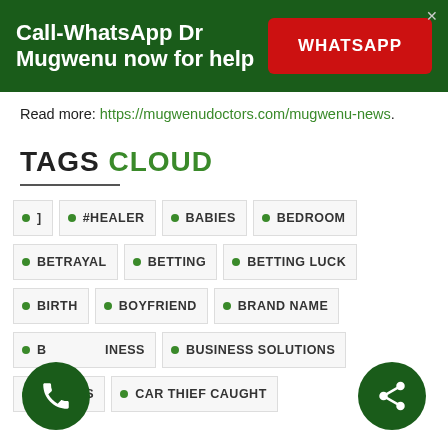[Figure (infographic): Dark green banner ad: 'Call-WhatsApp Dr Mugwenu now for help' with a red WHATSAPP button and a close X icon.]
Read more: https://mugwenudoctors.com/mugwenu-news.
TAGS CLOUD
]
#HEALER
BABIES
BEDROOM
BETRAYAL
BETTING
BETTING LUCK
BIRTH
BOYFRIEND
BRAND NAME
BUSINESS
BUSINESS SOLUTIONS
CAMPUS
CAR THIEF CAUGHT